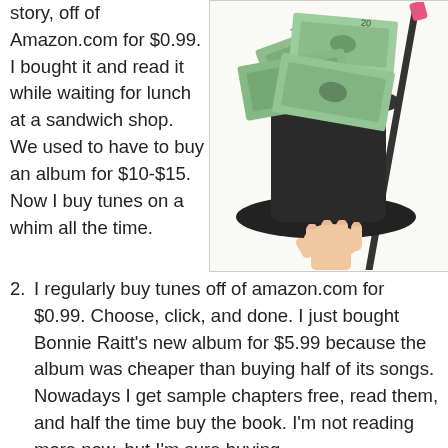story, off of Amazon.com for $0.99. I bought it and read it while waiting for lunch at a sandwich shop. We used to have to buy an album for $10-$15. Now I buy tunes on a whim all the time.
[Figure (photo): A hand holding a black top hat filled with US dollar bills spilling out, with a magic wand resting against the hat.]
I regularly buy tunes off of amazon.com for $0.99. Choose, click, and done. I just bought Bonnie Raitt's new album for $5.99 because the album was cheaper than buying half of its songs. Nowadays I get sample chapters free, read them, and half the time buy the book. I'm not reading more now, but I'm sure buying